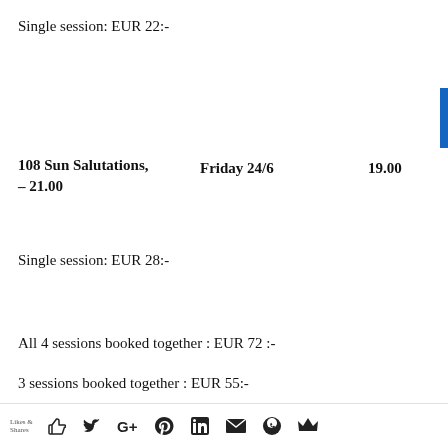Single session: EUR 22:-
108 Sun Salutations,   Friday 24/6   19.00 – 21.00
Single session: EUR 28:-
All 4 sessions booked together : EUR 72 :-
3 sessions booked together : EUR 55:-
Likes & Shares [social icons: thumbs up, Twitter, Google+, Pinterest, LinkedIn, Email, WhatsApp, crown]